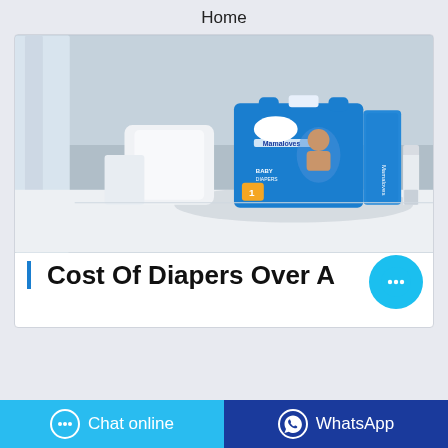Home
[Figure (photo): Product photo of Mamaloves Baby Diapers packaging, size 1, shown on a white surface with blue background and a brush nearby.]
Cost Of Diapers Over A
[Figure (other): Floating chat bubble button (blue circle with three dots)]
[Figure (other): Footer bar with Chat online button (light blue) and WhatsApp button (dark blue)]